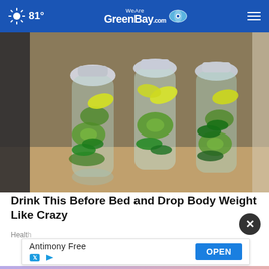81° | WeAre GreenBay.com
[Figure (photo): Three large clear glass bottles filled with water, cucumber slices, lemon slices, and fresh mint leaves, sitting on a granite countertop in a kitchen.]
Drink This Before Bed and Drop Body Weight Like Crazy
Health
[Figure (infographic): Advertisement overlay with close (X) button and ad banner showing 'Antimony Free' with X and play icons, and an 'OPEN' button on blue background.]